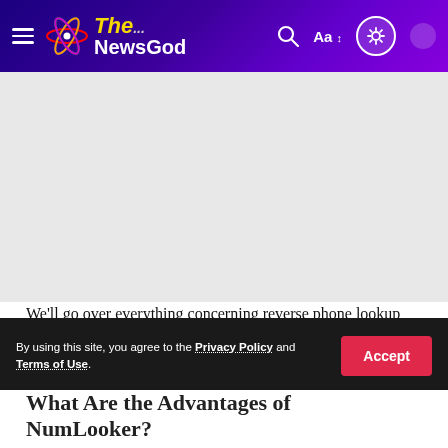The NewsGod
[Figure (other): Advertisement placeholder gray area]
We'll go over everything concerning reverse phone lookup tools in this article. We'll also share a fantastic platform where you can use this service to track someone's phone number. If you are thinking about what phone spy lookup is,
By using this site, you agree to the Privacy Policy and Terms of Use.
What Are the Advantages of NumLooker?